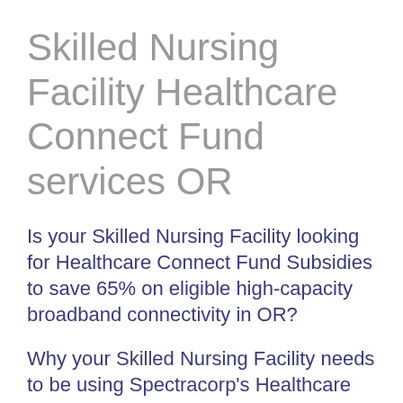Skilled Nursing Facility Healthcare Connect Fund services OR
Is your Skilled Nursing Facility looking for Healthcare Connect Fund Subsidies to save 65% on eligible high-capacity broadband connectivity in OR?
Why your Skilled Nursing Facility needs to be using Spectracorp's Healthcare Connect Fund services to help maximize your eligibility...